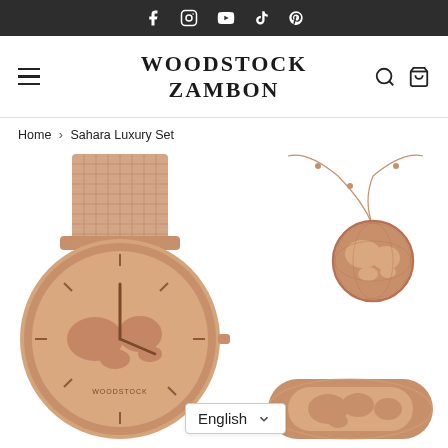Social media icons bar (Facebook, Instagram, YouTube, TikTok, Pinterest)
WOODSTOCK ZAMBON
Home › Sahara Luxury Set
[Figure (photo): Rose gold watch with mesh strap featuring a world map dial, necklace with globe pendant, and a ring/bangle, all in rose gold. Language selector dropdown showing 'English'.]